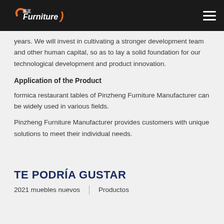Furniture (Pinzheng Furniture logo)
years. We will invest in cultivating a stronger development team and other human capital, so as to lay a solid foundation for our technological development and product innovation.
Application of the Product
formica restaurant tables of Pinzheng Furniture Manufacturer can be widely used in various fields.
Pinzheng Furniture Manufacturer provides customers with unique solutions to meet their individual needs.
TE PODRÍA GUSTAR
2021 muebles nuevos   |   Productos